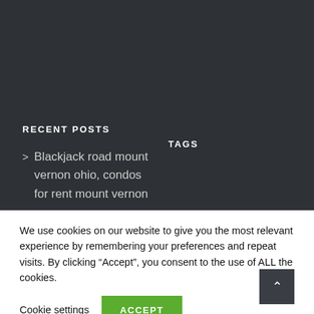RECENT POSTS
TAGS
Blackjack road mount vernon ohio, condos for rent mount vernon
We use cookies on our website to give you the most relevant experience by remembering your preferences and repeat visits. By clicking “Accept”, you consent to the use of ALL the cookies.
Cookie settings
ACCEPT